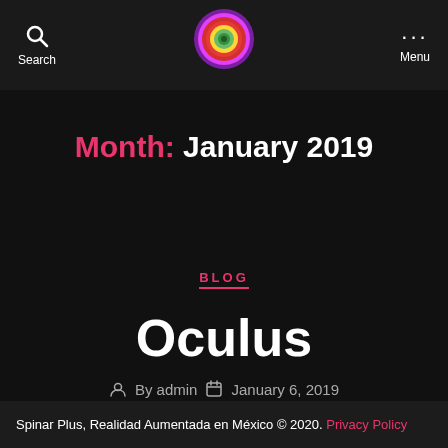Search | [logo] | Menu
Month: January 2019
BLOG
Oculus
By admin   January 6, 2019
Spinar Plus, Realidad Aumentada en México © 2020. Privacy Policy